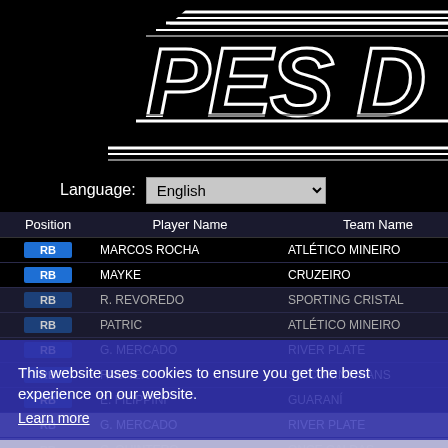[Figure (logo): PES database logo in white italic bold text on black background with decorative diagonal lines]
Language: English
| Position | Player Name | Team Name |
| --- | --- | --- |
| RB | MARCOS ROCHA | ATLÉTICO MINEIRO |
| RB | MAYKE | CRUZEIRO |
| RB | R. REVOREDO | SPORTING CRISTAL |
| RB | PATRIC | ATLÉTICO MINEIRO |
| RB | G. MERCADO | RIVER PLATE |
| RB | FAGNER | SC CORINTHIANS |
| RB | E. FILIPPINI | GUARANÍ |
| RB | G. MERCADO | RIVER PLATE |
| RB | C. QUINTERO | ONCE CALDAS |
| RB | C. VARGAS | JORGE WILSTERMANN |
| RB | A. SILVA | C.A. PEÑAROL |
This website uses cookies to ensure you get the best experience on our website. Learn more
Got it!